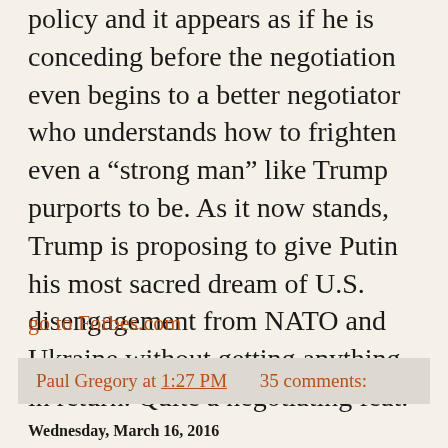policy and it appears as if he is conceding before the negotiation even begins to a better negotiator who understands how to frighten even a “strong man” like Trump purports to be. As it now stands, Trump is proposing to give Putin his most sacred dream of U.S. disengagement from NATO and Ukraine without getting anything in return. Quite a negotiating feat.
go to Forbes.com
Paul Gregory at 1:27 PM    35 comments:
Wednesday, March 16, 2016